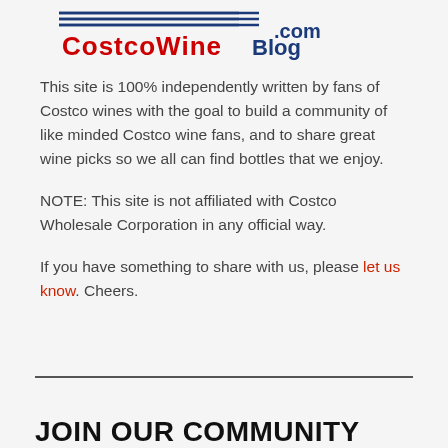[Figure (logo): CostcoWineBlog.com logo with horizontal lines and red/blue text]
This site is 100% independently written by fans of Costco wines with the goal to build a community of like minded Costco wine fans, and to share great wine picks so we all can find bottles that we enjoy.
NOTE: This site is not affiliated with Costco Wholesale Corporation in any official way.
If you have something to share with us, please let us know. Cheers.
JOIN OUR COMMUNITY